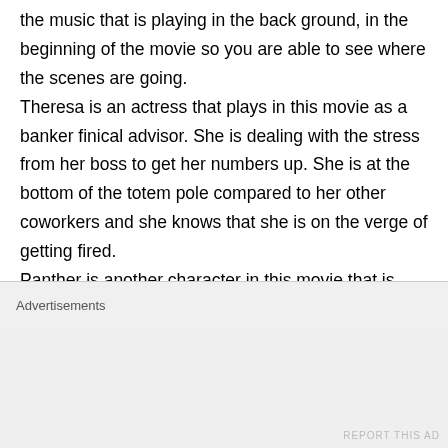the music that is playing in the back ground, in the beginning of the movie so you are able to see where the scenes are going. Theresa is an actress that plays in this movie as a banker finical advisor. She is dealing with the stress from her boss to get her numbers up. She is at the bottom of the totem pole compared to her other coworkers and she knows that she is on the verge of getting fired. Panther is another character in this movie that is also dealing with stress from his gang brothers to get one of his gang brothers out of jail. Panther comes up with the money the first time
Advertisements